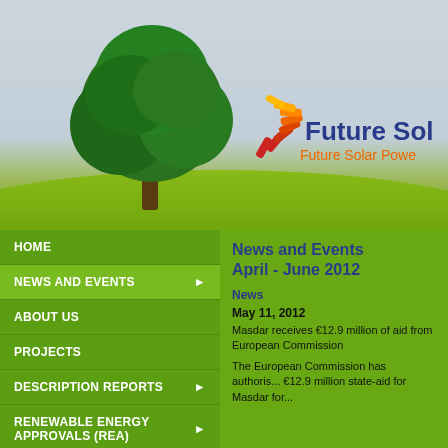[Figure (illustration): Header banner with gray-blue sky background, green tree on left, green grass hill, and Future Solar Power logo on right]
HOME
NEWS AND EVENTS
ABOUT US
PROJECTS
DESCRIPTION REPORTS
RENEWABLE ENERGY APPROVALS (REA)
News and Events April - June 2012
News
May 11, 2012
Masdar receives €12.9 million of aid from European Commission
The European Commission has authorised €12.9 million state-aid for Masdar for...